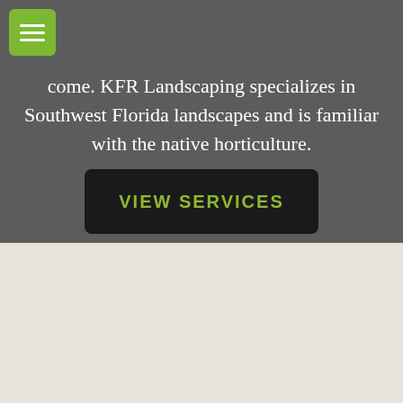[Figure (screenshot): Green hamburger menu button in top-left corner]
come. KFR Landscaping specializes in Southwest Florida landscapes and is familiar with the native horticulture.
[Figure (other): Dark button labeled VIEW SERVICES in yellow-green uppercase text]
[Figure (photo): Circular avatar photo of a house with green lawn, surrounded by a green border]
Steve R.
Fort Myers, FL